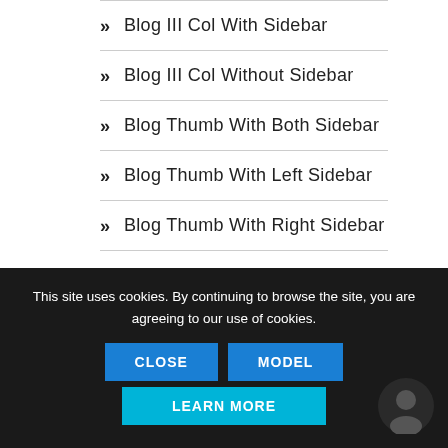» Blog III Col With Sidebar
» Blog III Col Without Sidebar
» Blog Thumb With Both Sidebar
» Blog Thumb With Left Sidebar
» Blog Thumb With Right Sidebar
» Blog Thumb Without Sidebar
This site uses cookies. By continuing to browse the site, you are agreeing to our use of cookies.
CLOSE | MODEL | LEARN MORE